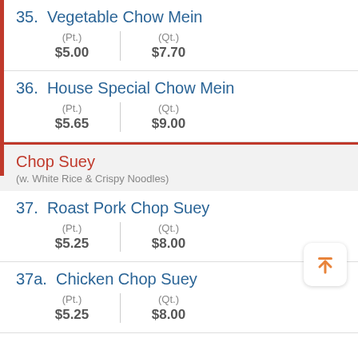35. Vegetable Chow Mein
| (Pt.) | (Qt.) |
| --- | --- |
| $5.00 | $7.70 |
36. House Special Chow Mein
| (Pt.) | (Qt.) |
| --- | --- |
| $5.65 | $9.00 |
Chop Suey
(w. White Rice & Crispy Noodles)
37. Roast Pork Chop Suey
| (Pt.) | (Qt.) |
| --- | --- |
| $5.25 | $8.00 |
37a. Chicken Chop Suey
| (Pt.) | (Qt.) |
| --- | --- |
| $5.25 | $8.00 |